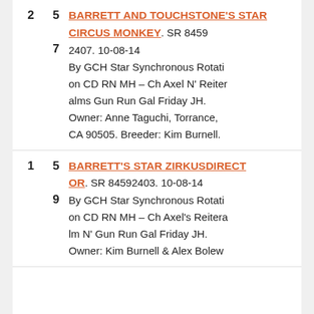2 5 BARRETT AND TOUCHSTONE'S STAR CIRCUS MONKEY. SR 84592407. 10-08-14 By GCH Star Synchronous Rotation CD RN MH – Ch Axel N' Reiteralms Gun Run Gal Friday JH. Owner: Anne Taguchi, Torrance, CA 90505. Breeder: Kim Burnell.
1 5 9 BARRETT'S STAR ZIRKUSDIRECTOR. SR 84592403. 10-08-14 By GCH Star Synchronous Rotation CD RN MH – Ch Axel's Reiteralm N' Gun Run Gal Friday JH. Owner: Kim Burnell & Alex Bolew